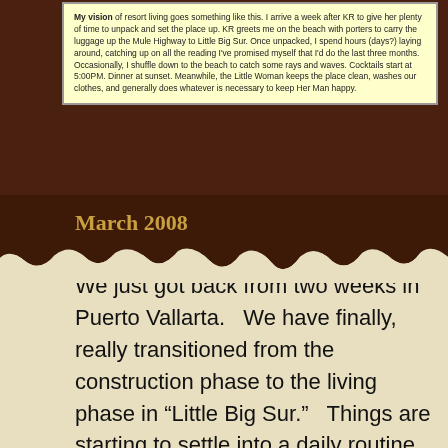My vision of resort living goes something like this. I arrive a week after KR to give her plenty of time to unpack and set the place up. KR greets me on the beach with porters to carry the luggage up the Mule Highway to Little Big Sur. Once unpacked, I spend hours (days?) laying around, catching up on all the reading I've promised myself that I'd do the last three months. Occasionally, I shuffle down to the beach to catch some rays and waves. Cocktails start at 5:00PM. Dinner at sunset. Meanwhile, the Little Woman keeps the place clean, washes our clothes, and generally does whatever is necessary to keep Her Man happy.
March 2008
We just got back from two weeks in Puerto Vallarta.   We have finally, really transitioned from the construction phase to the living phase in “Little Big Sur.”   Things are starting to settle into a daily routine , although its  not the routine I expected.    When we first bought LBS, I was a little skeptical about whether there would be enough to do beyond a day or two’s worth of time.    Well, be careful what you